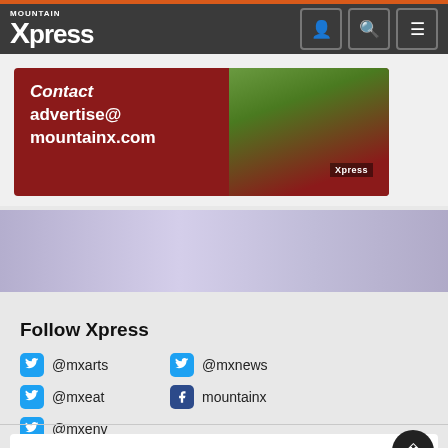Mountain Xpress
[Figure (screenshot): Advertisement banner for Mountain Xpress with dark red background, text 'Contact advertise@ mountainx.com' and product image on right]
[Figure (illustration): Partial purple/lavender decorative graphic strip]
Follow Xpress
@mxarts  @mxnews  @mxeat  mountainx  @mxenv
Don't miss a beat. Subscribe to our daily newsletter.
email address